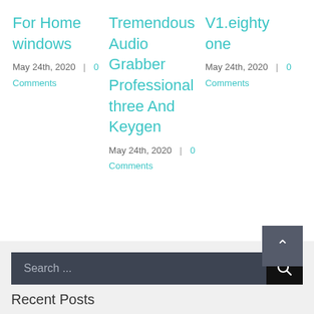For Home windows
May 24th, 2020  |  0 Comments
Tremendous Audio Grabber Professional three And Keygen
May 24th, 2020  |  0 Comments
V1.eighty one
May 24th, 2020  |  0 Comments
Search ...
Recent Posts